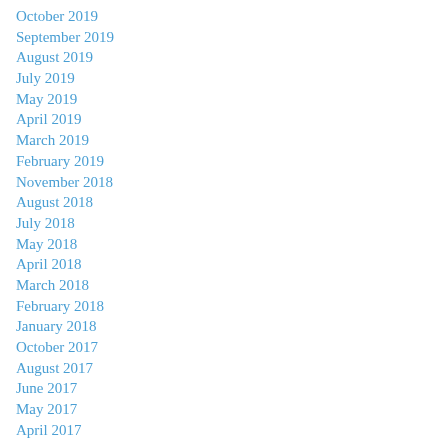October 2019
September 2019
August 2019
July 2019
May 2019
April 2019
March 2019
February 2019
November 2018
August 2018
July 2018
May 2018
April 2018
March 2018
February 2018
January 2018
October 2017
August 2017
June 2017
May 2017
April 2017